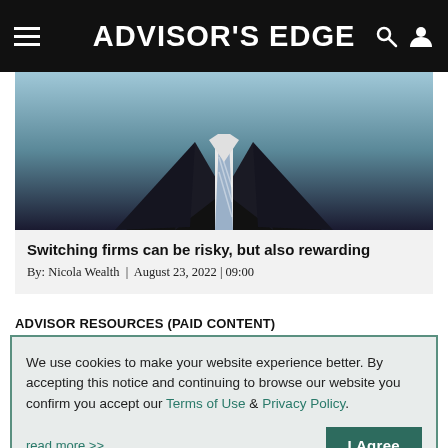ADVISOR'S EDGE
[Figure (photo): Man in dark business suit with striped tie, cropped at torso level, blurred teal background]
Switching firms can be risky, but also rewarding
By: Nicola Wealth | August 23, 2022 | 09:00
ADVISOR RESOURCES (PAID CONTENT)
We use cookies to make your website experience better. By accepting this notice and continuing to browse our website you confirm you accept our Terms of Use & Privacy Policy.

read more >>